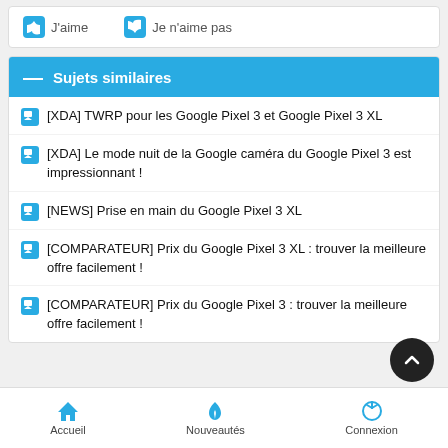[Figure (screenshot): Partial top bar with J'aime and Je n'aime pas buttons]
Sujets similaires
[XDA] TWRP pour les Google Pixel 3 et Google Pixel 3 XL
[XDA] Le mode nuit de la Google caméra du Google Pixel 3 est impressionnant !
[NEWS] Prise en main du Google Pixel 3 XL
[COMPARATEUR] Prix du Google Pixel 3 XL : trouver la meilleure offre facilement !
[COMPARATEUR] Prix du Google Pixel 3 : trouver la meilleure offre facilement !
Accueil   Nouveautés   Connexion